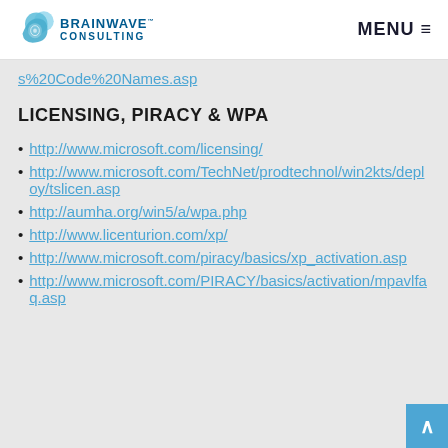BrainWave Consulting | MENU
s%20Code%20Names.asp
LICENSING, PIRACY & WPA
http://www.microsoft.com/licensing/
http://www.microsoft.com/TechNet/prodtechnol/win2kts/deploy/tslicen.asp
http://aumha.org/win5/a/wpa.php
http://www.licenturion.com/xp/
http://www.microsoft.com/piracy/basics/xp_activation.asp
http://www.microsoft.com/PIRACY/basics/activation/mpavlfaq.asp